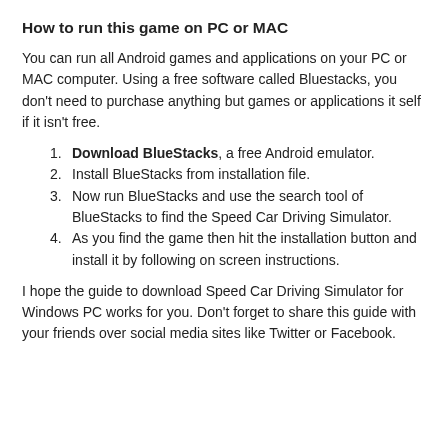How to run this game on PC or MAC
You can run all Android games and applications on your PC or MAC computer. Using a free software called Bluestacks, you don't need to purchase anything but games or applications it self if it isn't free.
Download BlueStacks, a free Android emulator.
Install BlueStacks from installation file.
Now run BlueStacks and use the search tool of BlueStacks to find the Speed Car Driving Simulator.
As you find the game then hit the installation button and install it by following on screen instructions.
I hope the guide to download Speed Car Driving Simulator for Windows PC works for you. Don't forget to share this guide with your friends over social media sites like Twitter or Facebook.